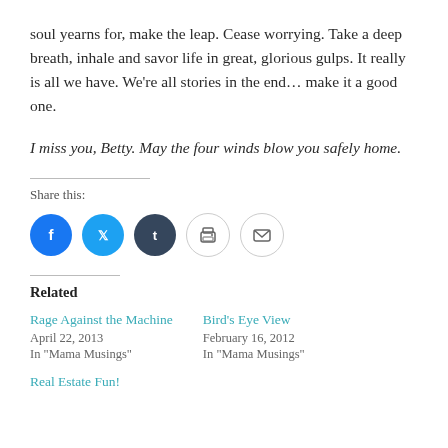soul yearns for, make the leap. Cease worrying. Take a deep breath, inhale and savor life in great, glorious gulps. It really is all we have. We're all stories in the end... make it a good one.
I miss you, Betty. May the four winds blow you safely home.
Share this:
[Figure (infographic): Row of five circular social share icons: Facebook (blue), Twitter (light blue), Tumblr (dark navy), Print (light gray outline), Email (light gray outline)]
Related
Rage Against the Machine
April 22, 2013
In "Mama Musings"
Bird's Eye View
February 16, 2012
In "Mama Musings"
Real Estate Fun!